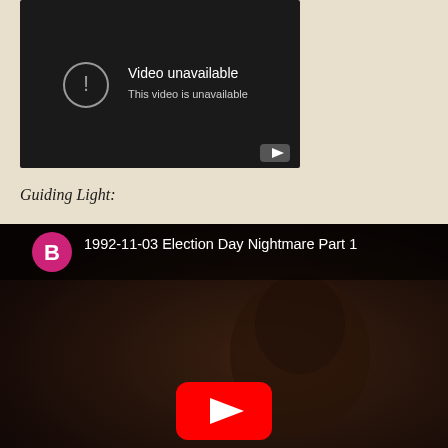[Figure (screenshot): YouTube video unavailable embed showing dark gray background with exclamation icon and text 'Video unavailable / This video is unavailable' with small YouTube logo in bottom right corner]
Guiding Light:
[Figure (screenshot): YouTube video thumbnail for '1992-11-03 Election Day Nightmare Part 1' showing channel avatar 'B' in pink circle, video title in header bar, dark dramatic scene of a person's face, and red YouTube play button overlay]